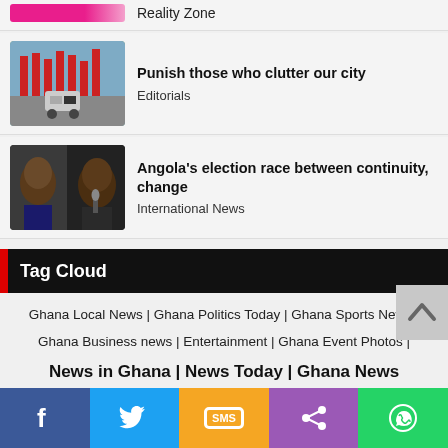[Figure (screenshot): Top card with pink/magenta banner image and 'Reality Zone' label]
Reality Zone
[Figure (photo): Street scene with billboards and a white car; article about city clutter]
Punish those who clutter our city
Editorials
[Figure (photo): Two men's faces side by side; Angola election article]
Angola's election race between continuity, change
International News
Tag Cloud
Ghana Local News | Ghana Politics Today | Ghana Sports News | Ghana Business news | Entertainment | Ghana Event Photos |
News in Ghana | News Today | Ghana News